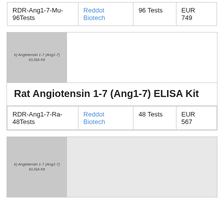|  |  |  |  |
| --- | --- | --- | --- |
| RDR-Ang1-7-Mu-96Tests | Reddot Biotech | 96 Tests | EUR 749 |
[Figure (photo): Product image placeholder for Rat Angiotensin 1-7 (Ang1-7) ELISA Kit showing kit label]
Rat Angiotensin 1-7 (Ang1-7) ELISA Kit
|  |  |  |  |
| --- | --- | --- | --- |
| RDR-Ang1-7-Ra-48Tests | Reddot Biotech | 48 Tests | EUR 567 |
[Figure (photo): Product image placeholder for another Rat Angiotensin 1-7 (Ang1-7) ELISA Kit]